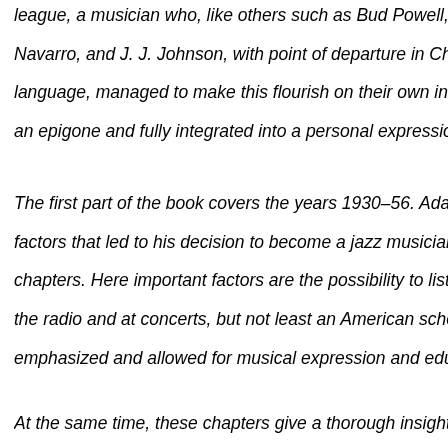league, a musician who, like others such as Bud Powell, Wardell Gray, Fats Navarro, and J. J. Johnson, with point of departure in Charlie Parker's language, managed to make this flourish on their own instrument without being an epigone and fully integrated into a personal expression.
The first part of the book covers the years 1930–56. Adams' upbringing and the factors that led to his decision to become a jazz musician is treated in early chapters. Here important factors are the possibility to listen to jazz music on the radio and at concerts, but not least an American school system much emphasized and allowed for musical expression and education.
At the same time, these chapters give a thorough insight into the social...